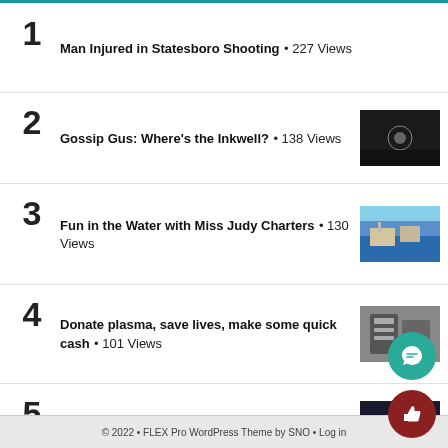1 Man Injured in Statesboro Shooting • 227 Views
2 Gossip Gus: Where's the Inkwell? • 138 Views
3 Fun in the Water with Miss Judy Charters • 130 Views
4 Donate plasma, save lives, make some quick cash • 101 Views
5 The Armstrong Charm • 72 Views
© 2022 • FLEX Pro WordPress Theme by SNO • Log in